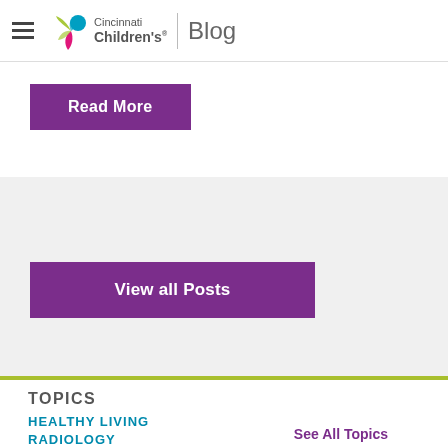Cincinnati Children's Blog
Read More
View all Posts
TOPICS
HEALTHY LIVING
RADIOLOGY
RARE AND COMPLEX CONDITIONS
SAFETY AND PREVENTION
See All Topics